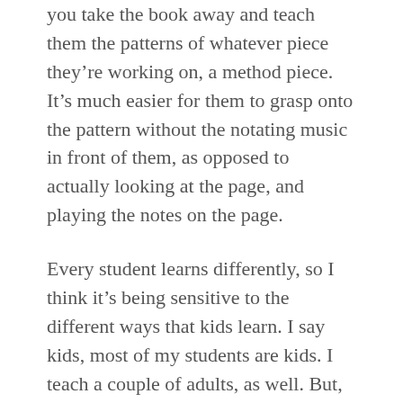you take the book away and teach them the patterns of whatever piece they're working on, a method piece. It's much easier for them to grasp onto the pattern without the notating music in front of them, as opposed to actually looking at the page, and playing the notes on the page.
Every student learns differently, so I think it's being sensitive to the different ways that kids learn. I say kids, most of my students are kids. I teach a couple of adults, as well. But, even then, whatever experiences of that adult coming in, whether they're a brand new student, or whether they've had classical lessons in the past are approached from a sheer improvisatory approach to piano. That